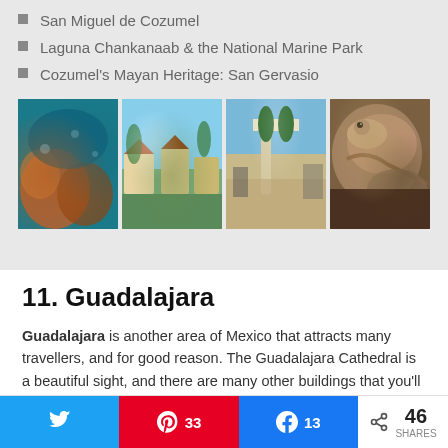San Miguel de Cozumel
Laguna Chankanaab & the National Marine Park
Cozumel's Mayan Heritage: San Gervasio
[Figure (photo): Four travel photos of Cozumel: underwater coral reef, beach huts with palm trees, town plaza with palm trees, and close-up of an iguana]
11. Guadalajara
Guadalajara is another area of Mexico that attracts many travellers, and for good reason. The Guadalajara Cathedral is a beautiful sight, and there are many other buildings that you'll want to visit.
Selva Magica is a wonderful amusement park with rides for all ages,
Twitter share | Pinterest 33 | Facebook 13 | Share 46 SHARES